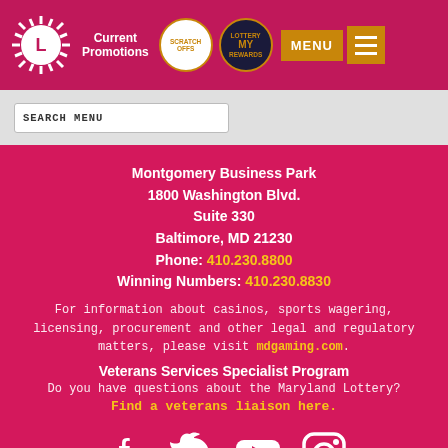Current Promotions | SCRATCH OFFS | MY REWARDS | MENU
SEARCH MENU
Montgomery Business Park
1800 Washington Blvd.
Suite 330
Baltimore, MD 21230
Phone: 410.230.8800
Winning Numbers: 410.230.8830
For information about casinos, sports wagering, licensing, procurement and other legal and regulatory matters, please visit mdgaming.com.
Veterans Services Specialist Program
Do you have questions about the Maryland Lottery?
Find a veterans liaison here.
[Figure (illustration): Social media icons: Facebook, Twitter, YouTube, Instagram in white on pink background]